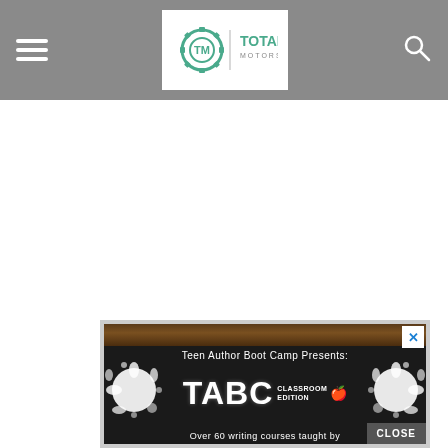Total Motorsport — navigation header with hamburger menu, logo, and search icon
[Figure (screenshot): Advertisement: Teen Author Boot Camp Presents TABC Classroom Edition. Text reads 'Over 60 writing courses taught by'. Features TABC logo with ink splash design and apple icon. Has X close button and CLOSE button.]